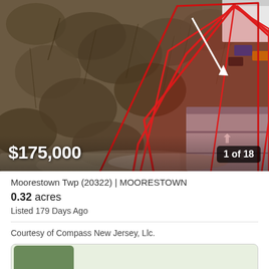[Figure (photo): Aerial drone photograph of a wooded lot in Moorestown NJ with a red polygon outline marking the 0.32 acre parcel boundary, a white arrow pointing to the lot, and a neighboring house with gray roof visible to the right. Price $175,000 overlaid bottom-left, '1 of 18' badge bottom-right.]
Moorestown Twp (20322) | MOORESTOWN
0.32 acres
Listed 179 Days Ago
Courtesy of Compass New Jersey, Llc.
[Figure (photo): Partially visible second listing photo showing a green leafy scene, cropped at bottom of page.]